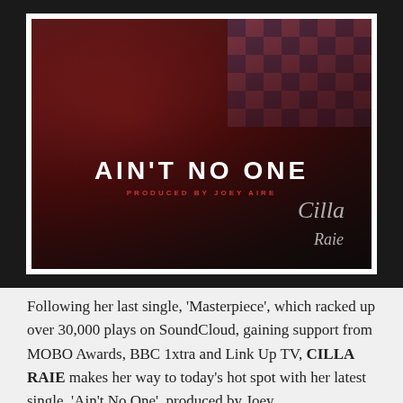[Figure (photo): Album cover art for 'Ain't No One' by Cilla Raie. Produced by Joey Aire. Dark red-toned photo of a woman reclining, with a checkered pink/blue pattern in the background. The title 'AIN'T NO ONE' is displayed in bold white uppercase letters, with 'PRODUCED BY JOEY AIRE' in small red text beneath. A cursive signature reading 'Cilla Raie' appears in the lower right.]
Following her last single, 'Masterpiece', which racked up over 30,000 plays on SoundCloud, gaining support from MOBO Awards, BBC 1xtra and Link Up TV, CILLA RAIE makes her way to today's hot spot with her latest single, 'Ain't No One', produced by Joey